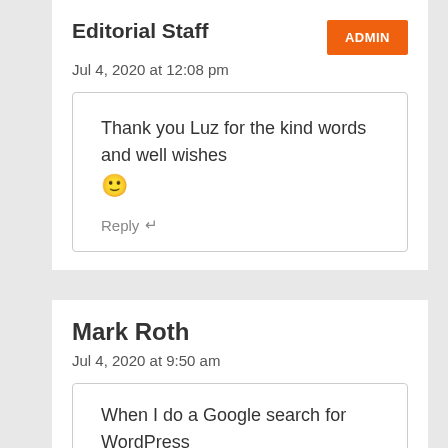Editorial Staff
ADMIN
Jul 4, 2020 at 12:08 pm
Thank you Luz for the kind words and well wishes 🙂
Reply ↵
Mark Roth
Jul 4, 2020 at 9:50 am
When I do a Google search for WordPress